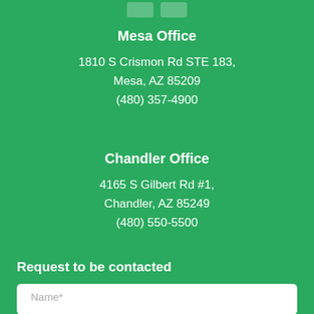[Figure (illustration): Two social media icon buttons at the top of a green background]
Mesa Office
1810 S Crismon Rd STE 183,
Mesa, AZ 85209
(480) 357-4900
Chandler Office
4165 S Gilbert Rd #1,
Chandler, AZ 85249
(480) 550-5500
Request to be contacted
Name*